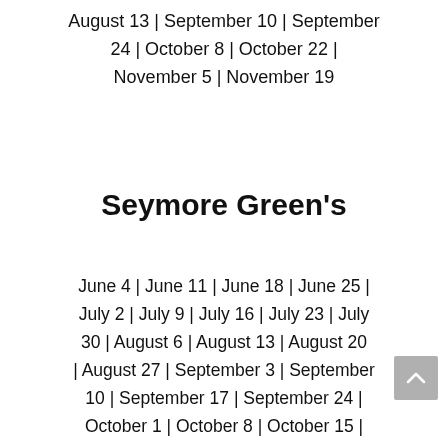August 13 | September 10 | September 24 | October 8 | October 22 | November 5 | November 19
Seymore Green's
June 4 | June 11 | June 18 | June 25 | July 2 | July 9 | July 16 | July 23 | July 30 | August 6 | August 13 | August 20 | August 27 | September 3 | September 10 | September 17 | September 24 | October 1 | October 8 | October 15 |